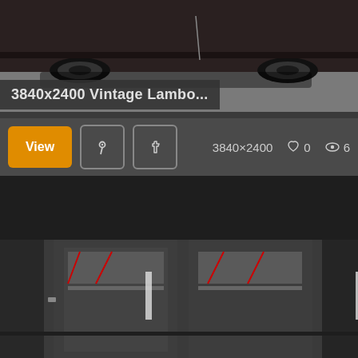[Figure (photo): Top portion of a dark vintage Lamborghini car, showing the bottom undercarriage and wheels on a grey concrete floor]
3840x2400 Vintage Lambo...
View  [Pinterest icon]  [Facebook icon]  3840×2400  ♡ 0  👁 6
[Figure (photo): Interior or exterior architectural photo showing dark grey walls, large glass doors/windows, and a parking structure visible through the glass with red structural elements]